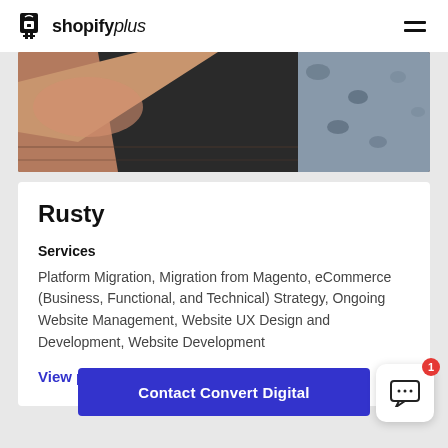Shopify Plus (logo) | hamburger menu
[Figure (photo): Hero image showing hands working on yoga mat or similar textile, partially obscured view]
Rusty
Services
Platform Migration, Migration from Magento, eCommerce (Business, Functional, and Technical) Strategy, Ongoing Website Management, Website UX Design and Development, Website Development
View project
Contact Convert Digital